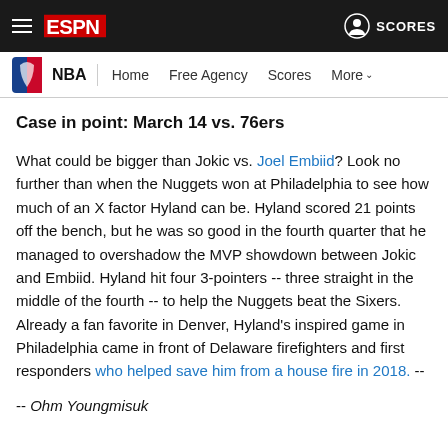ESPN — NBA Navigation: Home, Free Agency, Scores, More
Case in point: March 14 vs. 76ers
What could be bigger than Jokic vs. Joel Embiid? Look no further than when the Nuggets won at Philadelphia to see how much of an X factor Hyland can be. Hyland scored 21 points off the bench, but he was so good in the fourth quarter that he managed to overshadow the MVP showdown between Jokic and Embiid. Hyland hit four 3-pointers -- three straight in the middle of the fourth -- to help the Nuggets beat the Sixers. Already a fan favorite in Denver, Hyland's inspired game in Philadelphia came in front of Delaware firefighters and first responders who helped save him from a house fire in 2018. --
-- Ohm Youngmisuk